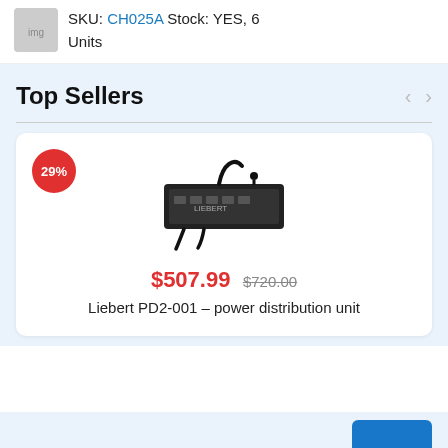SKU: CH025A Stock: YES, 6 Units
Top Sellers
[Figure (photo): Product image of Liebert PD2-001 power distribution unit, a black hardware device with cables]
$507.99  $720.00
Liebert PD2-001 – power distribution unit